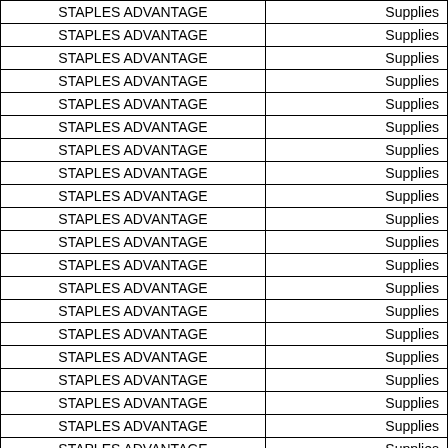| Vendor | Category |
| --- | --- |
| STAPLES ADVANTAGE | Supplies |
| STAPLES ADVANTAGE | Supplies |
| STAPLES ADVANTAGE | Supplies |
| STAPLES ADVANTAGE | Supplies |
| STAPLES ADVANTAGE | Supplies |
| STAPLES ADVANTAGE | Supplies |
| STAPLES ADVANTAGE | Supplies |
| STAPLES ADVANTAGE | Supplies |
| STAPLES ADVANTAGE | Supplies |
| STAPLES ADVANTAGE | Supplies |
| STAPLES ADVANTAGE | Supplies |
| STAPLES ADVANTAGE | Supplies |
| STAPLES ADVANTAGE | Supplies |
| STAPLES ADVANTAGE | Supplies |
| STAPLES ADVANTAGE | Supplies |
| STAPLES ADVANTAGE | Supplies |
| STAPLES ADVANTAGE | Supplies |
| STAPLES ADVANTAGE | Supplies |
| STAPLES ADVANTAGE | Supplies |
| STAPLES ADVANTAGE | Supplies |
| STAPLES ADVANTAGE | Supplies |
| STAPLES ADVANTAGE | Supplies |
| STAPLES ADVANTAGE | Supplies |
| STAPLES ADVANTAGE | Custodian Suppli… |